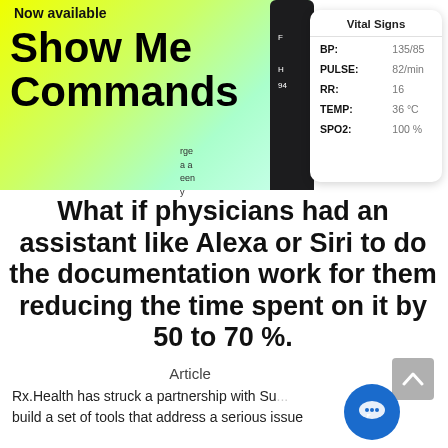[Figure (screenshot): App screenshot showing 'Now available - Show Me Commands' on a yellow-green gradient phone screen, alongside a Vital Signs card showing BP: 135/85, PULSE: 82/min, RR: 16, TEMP: 36°C, SPO2: 100%]
What if physicians had an assistant like Alexa or Siri to do the documentation work for them reducing the time spent on it by 50 to 70 %.
Article
Rx.Health has struck a partnership with Su... build a set of tools that address a serious issue